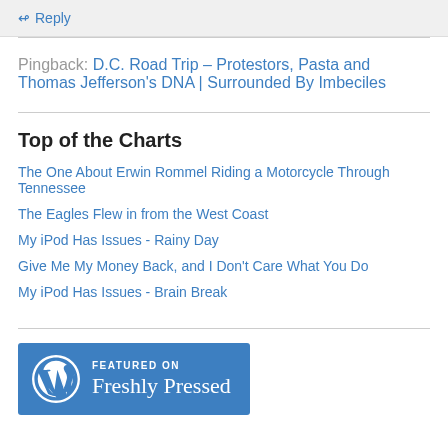↳ Reply
Pingback: D.C. Road Trip – Protestors, Pasta and Thomas Jefferson's DNA | Surrounded By Imbeciles
Top of the Charts
The One About Erwin Rommel Riding a Motorcycle Through Tennessee
The Eagles Flew in from the West Coast
My iPod Has Issues - Rainy Day
Give Me My Money Back, and I Don't Care What You Do
My iPod Has Issues - Brain Break
[Figure (logo): Featured on Freshly Pressed WordPress badge]